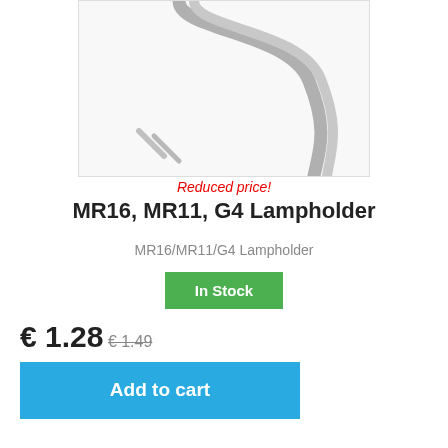[Figure (photo): Product photo of MR16/MR11/G4 lampholder — gray/white cable with two bent wire leads shown on white background]
Reduced price!
MR16, MR11, G4 Lampholder
MR16/MR11/G4 Lampholder
In Stock
€ 1.28 € 1.49
Add to cart